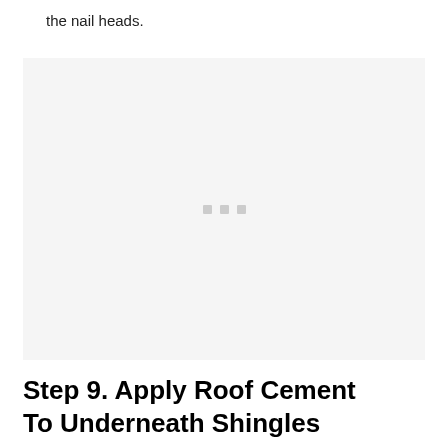the nail heads.
[Figure (photo): A light gray placeholder image area with three small gray square dots in the center, indicating a loading or placeholder image.]
Step 9. Apply Roof Cement To Underneath Shingles